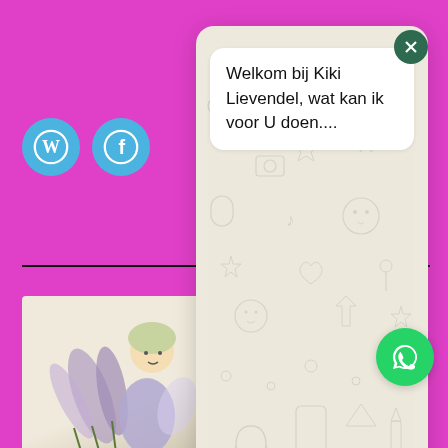[Figure (screenshot): WordPress logo in a teal/blue circle button]
[Figure (screenshot): Facebook logo in a teal/blue circle button]
[Figure (screenshot): WhatsApp chat popup panel with decorative background pattern showing a welcome message: 'Welkom bij Kiki Lievendel, wat kan ik voor U doen....' and a message input bar with green send button]
[Figure (illustration): Hand-drawn illustration of a fairy/girl character holding lavender flowers]
Privacybele
Met trots aangedreven door WordPress.
[Figure (screenshot): EN language selector button with UK flag emoji]
Donkere modus: Uit
[Figure (screenshot): WhatsApp floating button (green circle with WhatsApp phone icon)]